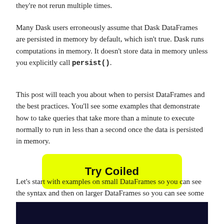they're not rerun multiple times.
Many Dask users erroneously assume that Dask DataFrames are persisted in memory by default, which isn't true. Dask runs computations in memory. It doesn't store data in memory unless you explicitly call persist().
This post will teach you about when to persist DataFrames and the best practices. You'll see some examples that demonstrate how to take queries that take more than a minute to execute normally to run in less than a second once the data is persisted in memory.
[Figure (other): Yellow button with bold text 'Try Coiled']
Let's start with examples on small DataFrames so you can see the syntax and then on larger DataFrames so you can see some performance benchmarks.
[Figure (screenshot): Dark navy/black background image, bottom of page, partial view]